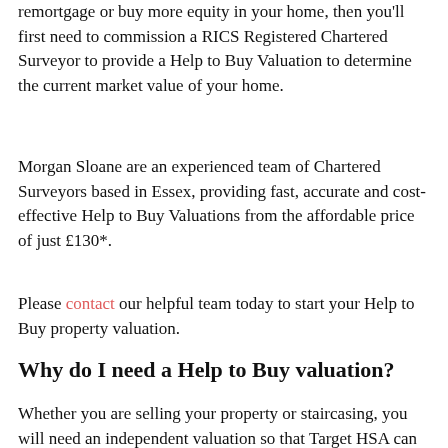remortgage or buy more equity in your home, then you'll first need to commission a RICS Registered Chartered Surveyor to provide a Help to Buy Valuation to determine the current market value of your home.
Morgan Sloane are an experienced team of Chartered Surveyors based in Essex, providing fast, accurate and cost-effective Help to Buy Valuations from the affordable price of just £130*.
Please contact our helpful team today to start your Help to Buy property valuation.
Why do I need a Help to Buy valuation?
Whether you are selling your property or staircasing, you will need an independent valuation so that Target HSA can determine the